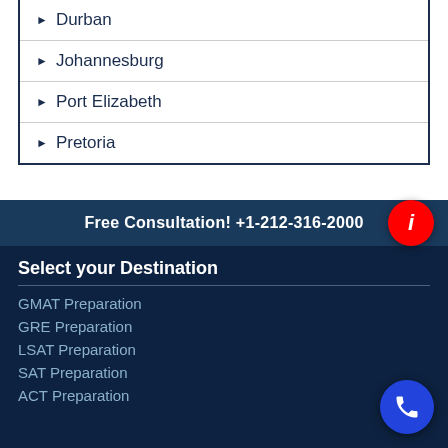Durban
Johannesburg
Port Elizabeth
Pretoria
Free Consultation! +1-212-316-2000
Select your Destination
GMAT Preparation
GRE Preparation
LSAT Preparation
SAT Preparation
ACT Preparation